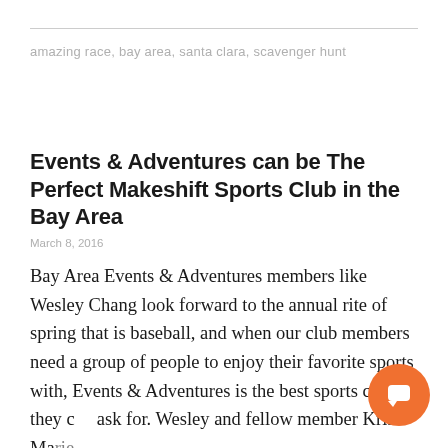amazing race, bay area, santa clara, scavenger hunt
Events & Adventures can be The Perfect Makeshift Sports Club in the Bay Area
March 8, 2016
Bay Area Events & Adventures members like Wesley Chang look forward to the annual rite of spring that is baseball, and when our club members need a group of people to enjoy their favorite sports with, Events & Adventures is the best sports club they can ask for. Wesley and fellow member Kris Marie